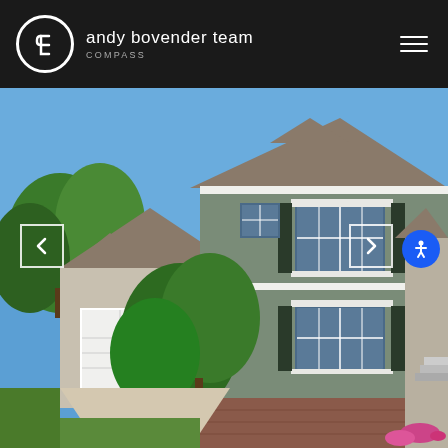[Figure (logo): Andy Bovender Team Compass logo — white circle with stylized 'b' icon on dark background, with text 'andy bovender team' and 'COMPASS' below]
[Figure (photo): Exterior photo of a two-story townhouse with sage green siding, white trim, dark shutters, brick foundation, two-car garage, and lush green trees in the foreground under a bright blue sky. Navigation arrows on left and right sides, accessibility button on far right.]